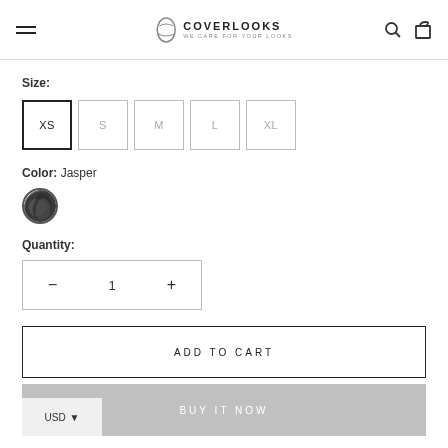COVER LOOKS – WE CARE FOR YOUR LOOKS
Size:
XS (selected), S, M, L, XL
Color: Jasper
[Figure (photo): Round color swatch showing Jasper color – dark grey/black marbled pattern]
Quantity:
– 1 +
ADD TO CART
BUY IT NOW
USD ▼